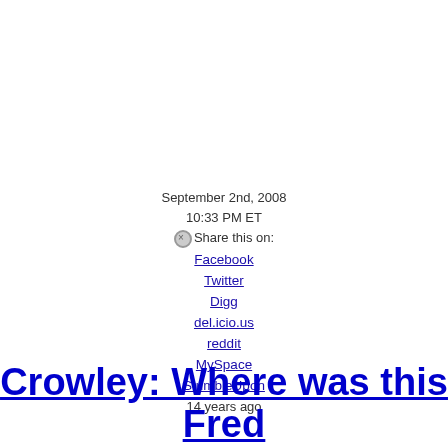September 2nd, 2008
10:33 PM ET
⊗Share this on:
Facebook
Twitter
Digg
del.icio.us
reddit
MySpace
StumbleUpon
14 years ago
Crowley: Where was this Fred